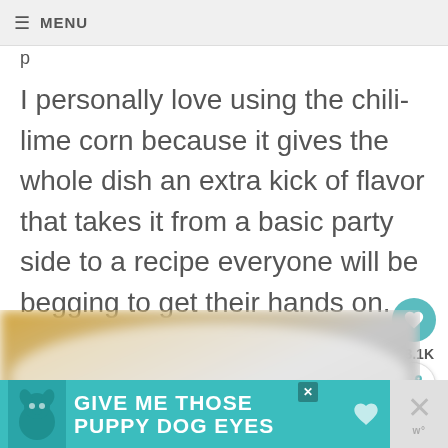☰ MENU
p
I personally love using the chili-lime corn because it gives the whole dish an extra kick of flavor that takes it from a basic party side to a recipe everyone will be begging to get their hands on.
[Figure (photo): Close-up photo of a dish with corn kernels in a bowl, blurred background with yellow and white tones]
3.1K
[Figure (photo): What's Next thumbnail showing grilled chili lime corn]
WHAT'S NEXT → Grilled Chili Lime Corn O...
[Figure (screenshot): Advertisement banner: GIVE ME THOSE PUPPY DOG EYES with dog image]